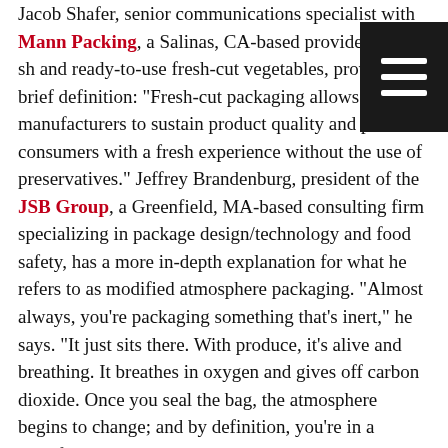Jacob Shafer, senior communications specialist with Mann Packing, a Salinas, CA-based provider of fresh and ready-to-use fresh-cut vegetables, provides a brief definition: "Fresh-cut packaging allows manufacturers to sustain product quality and provide consumers with a fresh experience without the use of preservatives." Jeffrey Brandenburg, president of the JSB Group, a Greenfield, MA-based consulting firm specializing in package design/technology and food safety, has a more in-depth explanation for what he refers to as modified atmosphere packaging. "Almost always, you're packaging something that's inert," he says. "It just sits there. With produce, it's alive and breathing. It breathes in oxygen and gives off carbon dioxide. Once you seal the bag, the atmosphere begins to change; and by definition, you're in a modified atmosphere package. The trick with modified atmosphere packaging is designing a package around that breathable produce that achieves an optimal modified atmosphere with steady conditions that extend the shelf life."
According to Brandenburg, a good modified atmosphere